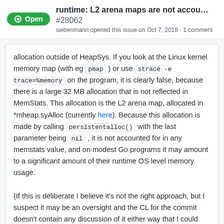runtime: L2 arena maps are not accou... #28062
siebenmann opened this issue on Oct 7, 2018 · 1 comment
allocation outside of HeapSys. If you look at the Linux kernel memory map (with eg pmap ) or use strace -e trace=%memory on the program, it is clearly false, because there is a large 32 MB allocation that is not reflected in MemStats. This allocation is the L2 arena map, allocated in *mheap.syAlloc (currently here). Because this allocation is made by calling persistentalloc() with the last parameter being nil , it is not accounted for in any memstats value, and on modest Go programs it may amount to a significant amount of their runtime OS level memory usage.

(If this is deliberate I believe it's not the right approach, but I suspect it may be an oversight and the CL for the commit doesn't contain any discussion of it either way that I could see. The related heapArena structure is accounted for, for example.)